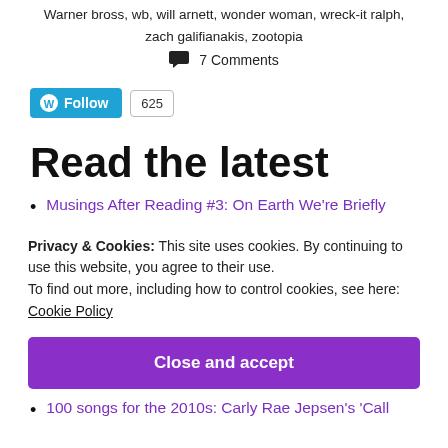Warner bross, wb, will arnett, wonder woman, wreck-it ralph, zach galifianakis, zootopia
💬 7 Comments
[Figure (other): WordPress Follow button with follower count 625]
Read the latest
Musings After Reading #3: On Earth We're Briefly
Privacy & Cookies: This site uses cookies. By continuing to use this website, you agree to their use.
To find out more, including how to control cookies, see here:
Cookie Policy
Close and accept
100 songs for the 2010s: Carly Rae Jepsen's 'Call